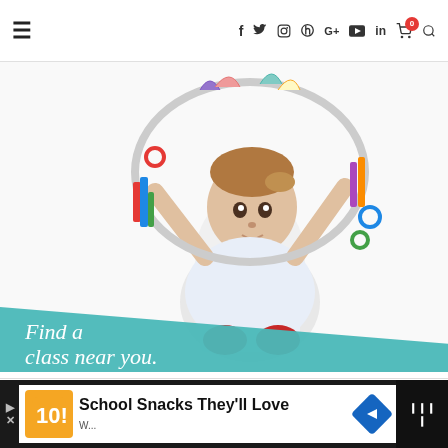Navigation bar with hamburger menu and social/utility icons: f, Twitter, Instagram, Pinterest, G+, YouTube, LinkedIn, Cart(0), Search
[Figure (photo): A baby girl sitting on white background, wearing white dress and red shoes, holding a colorful hoop decorated with ribbons and various items overhead. A teal triangular banner overlaid at bottom-left reads: Find a class near you.]
FIND US ON FACEBOOK
[Figure (infographic): Advertisement banner at bottom: dark background with white inner panel showing an orange app icon, text 'School Snacks They'll Love', a blue diamond arrow icon, and a dark right panel with logo marks.]